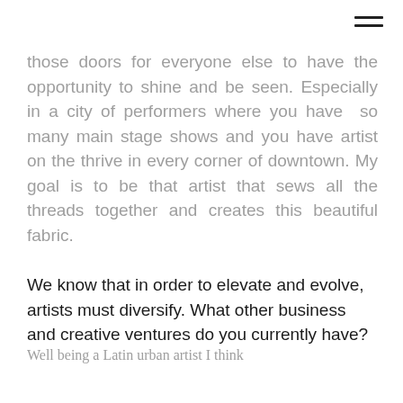those doors for everyone else to have the opportunity to shine and be seen. Especially in a city of performers where you have so many main stage shows and you have artist on the thrive in every corner of downtown. My goal is to be that artist that sews all the threads together and creates this beautiful fabric.
We know that in order to elevate and evolve, artists must diversify. What other business and creative ventures do you currently have? Well being a Latin urban artist I think